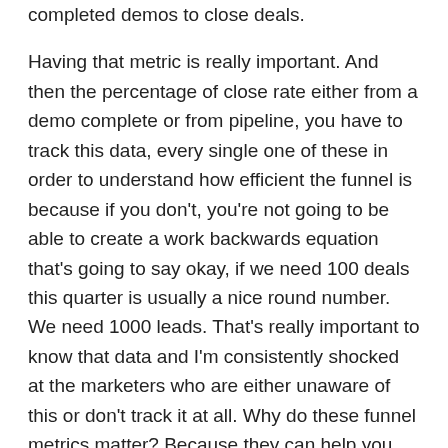completed demos to close deals. Having that metric is really important. And then the percentage of close rate either from a demo complete or from pipeline, you have to track this data, every single one of these in order to understand how efficient the funnel is because if you don't, you're not going to be able to create a work backwards equation that's going to say okay, if we need 100 deals this quarter is usually a nice round number. We need 1000 leads. That's really important to know that data and I'm consistently shocked at the marketers who are either unaware of this or don't track it at all. Why do these funnel metrics matter? Because they can help you answer really important questions. I'm going to say this in bold here because I think it's true even though it's probably controversial. Marketers who don't understand these metrics simply can't be leaders, say it again. Marketers who don't understand these